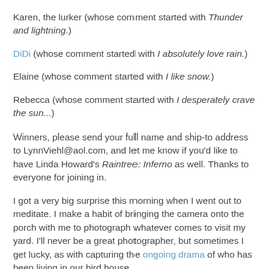Karen, the lurker (whose comment started with Thunder and lightning.)
DiDi (whose comment started with I absolutely love rain.)
Elaine (whose comment started with I like snow.)
Rebecca (whose comment started with I desperately crave the sun...)
Winners, please send your full name and ship-to address to LynnViehl@aol.com, and let me know if you'd like to have Linda Howard's Raintree: Inferno as well. Thanks to everyone for joining in.
I got a very big surprise this morning when I went out to meditate. I make a habit of bringing the camera onto the porch with me to photograph whatever comes to visit my yard. I'll never be a great photographer, but sometimes I get lucky, as with capturing the ongoing drama of who has been living in our bird house.